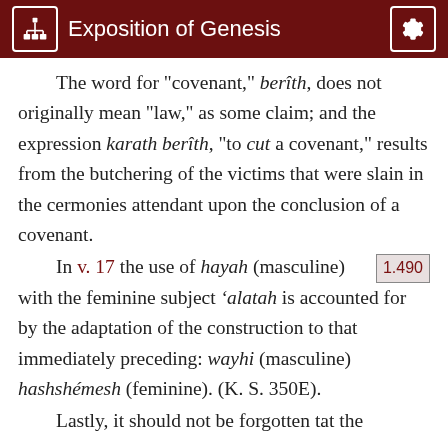Exposition of Genesis
The word for "covenant," berîth, does not originally mean "law," as some claim; and the expression karath berîth, "to cut a covenant," results from the butchering of the victims that were slain in the cermonies attendant upon the conclusion of a covenant.
In v. 17 the use of hayah (masculine) with the feminine subject 'alatah is accounted for by the adaptation of the construction to that immediately preceding: wayhi (masculine) hashshémesh (feminine). (K. S. 350E).
Lastly, it should not be forgotten tat the